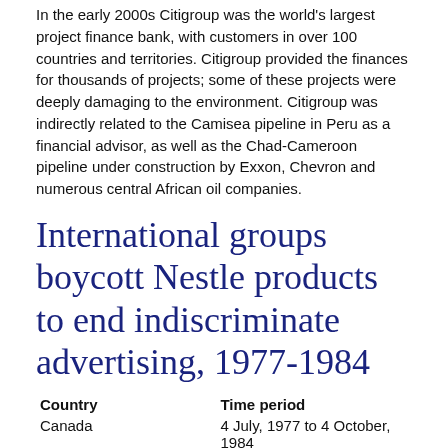In the early 2000s Citigroup was the world's largest project finance bank, with customers in over 100 countries and territories. Citigroup provided the finances for thousands of projects; some of these projects were deeply damaging to the environment. Citigroup was indirectly related to the Camisea pipeline in Peru as a financial advisor, as well as the Chad-Cameroon pipeline under construction by Exxon, Chevron and numerous central African oil companies.
International groups boycott Nestle products to end indiscriminate advertising, 1977-1984
| Country | Time period |
| --- | --- |
| Canada | 4 July, 1977 to 4 October, 1984 |
| New Zealand |  |
| United Kingdom |  |
| Sweden |  |